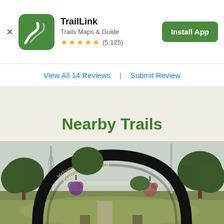TrailLink — Trails Maps & Guide — ★★★★★ (5,125) — Install App
View All 14 Reviews | Submit Review
Nearby Trails
[Figure (photo): Archway entrance to Prairie Farmer Trail with text 'Prairie Farmer Trail' and 'Welcome To Calumet', flanked by trees and a communications tower in the background, with hanging flower baskets.]